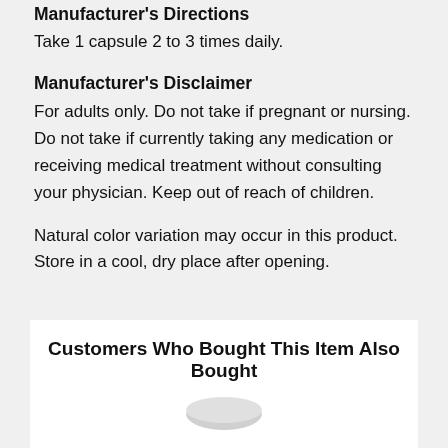Manufacturer's Directions
Take 1 capsule 2 to 3 times daily.
Manufacturer's Disclaimer
For adults only. Do not take if pregnant or nursing. Do not take if currently taking any medication or receiving medical treatment without consulting your physician. Keep out of reach of children.
Natural color variation may occur in this product.
Store in a cool, dry place after opening.
Customers Who Bought This Item Also Bought
[Figure (photo): Product image at bottom of page]